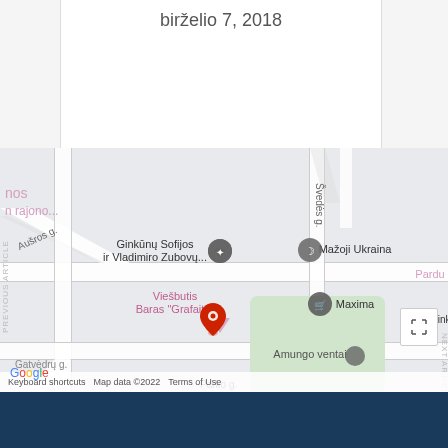birželio 7, 2018
[Figure (map): Google Maps screenshot showing location in Ginkūnai area with streets: Aušros g., Švedės g., Parko g., Gatvėdrų g., Versmių g. POIs include: Ginkūnų Sofijos ir Vladimiro Zubovų..., Mažoji Ukraina, Viešbutis Baras 'Grafaitė', Maxima, Amungo ventai, Ginkū... Red location pin is placed at Viešbutis Baras 'Grafaitė'. Map data ©2022, Terms of Use.]
Keyboard shortcuts   Map data ©2022   Terms of Use